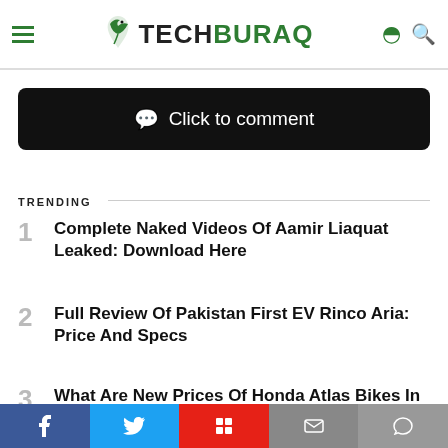TECHBURAQ
Click to comment
TRENDING
Complete Naked Videos Of Aamir Liaquat Leaked: Download Here
Full Review Of Pakistan First EV Rinco Aria: Price And Specs
What Are New Prices Of Honda Atlas Bikes In 2022?
f | Tweet | Flip | Email | Comment